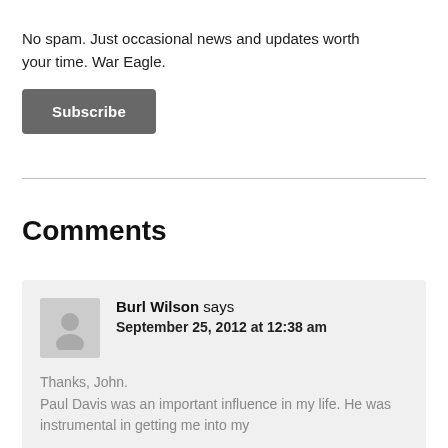No spam. Just occasional news and updates worth your time. War Eagle.
Subscribe
Comments
Burl Wilson says
September 25, 2012 at 12:38 am
Thanks, John.
Paul Davis was an important influence in my life. He was instrumental in getting me into my